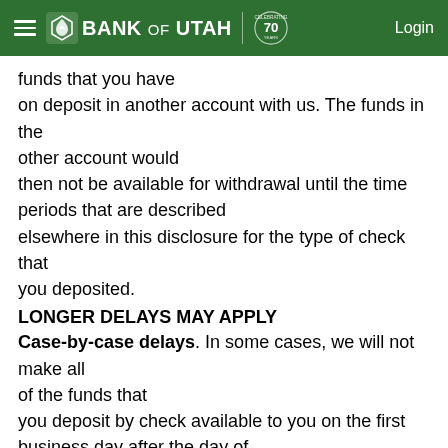Bank of Utah — Login
funds that you have on deposit in another account with us. The funds in the other account would then not be available for withdrawal until the time periods that are described elsewhere in this disclosure for the type of check that you deposited.
LONGER DELAYS MAY APPLY
Case-by-case delays. In some cases, we will not make all of the funds that you deposit by check available to you on the first business day after the day of your deposit. Depending on the type of check that you deposit, funds may not be available until the second business day after the day of your deposit. The first $200 of your deposits, however, will be available on the first business day.